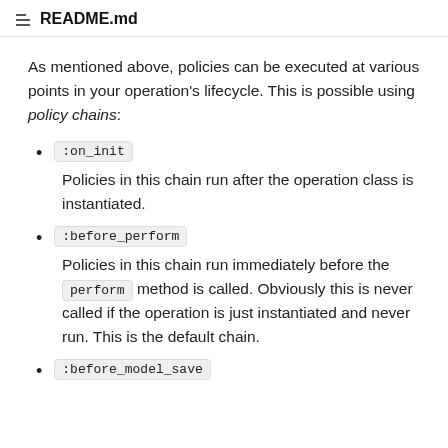README.md
As mentioned above, policies can be executed at various points in your operation's lifecycle. This is possible using policy chains:
:on_init
Policies in this chain run after the operation class is instantiated.
:before_perform
Policies in this chain run immediately before the perform method is called. Obviously this is never called if the operation is just instantiated and never run. This is the default chain.
:before_model_save